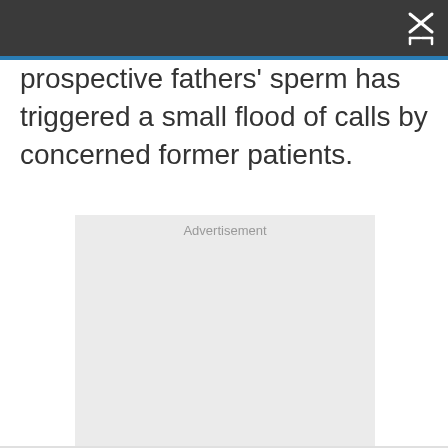prospective fathers' sperm has triggered a small flood of calls by concerned former patients.
[Figure (other): Advertisement placeholder box with light gray background and 'Advertisement' label at top center]